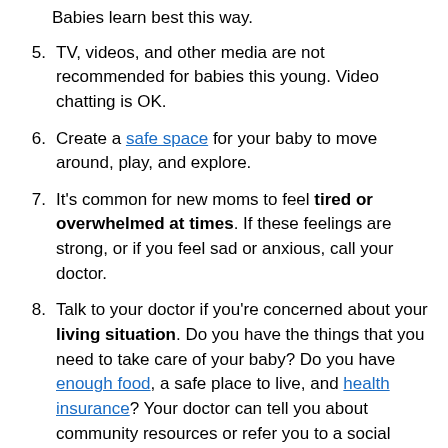Babies learn best this way.
5. TV, videos, and other media are not recommended for babies this young. Video chatting is OK.
6. Create a safe space for your baby to move around, play, and explore.
7. It's common for new moms to feel tired or overwhelmed at times. If these feelings are strong, or if you feel sad or anxious, call your doctor.
8. Talk to your doctor if you're concerned about your living situation. Do you have the things that you need to take care of your baby? Do you have enough food, a safe place to live, and health insurance? Your doctor can tell you about community resources or refer you to a social worker.